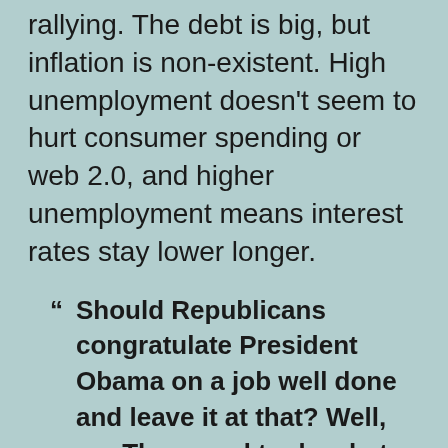rallying. The debt is big, but inflation is non-existent. High unemployment doesn't seem to hurt consumer spending or web 2.0, and higher unemployment means interest rates stay lower longer.
“ Should Republicans congratulate President Obama on a job well done and leave it at that? Well, no. They need to do what they’ve failed to do for the past half-decade and explain why they can do a better job than the Democrats of steering the American economy.